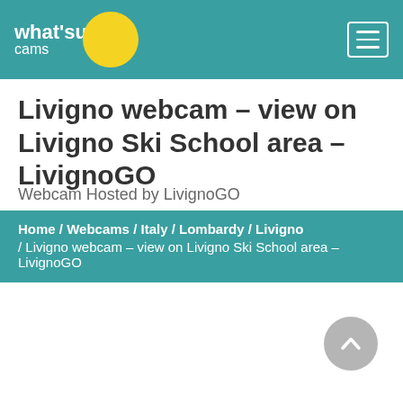what'sup cams
Livigno webcam – view on Livigno Ski School area – LivignoGO
Webcam Hosted by LivignoGO
Home / Webcams / Italy / Lombardy / Livigno / Livigno webcam – view on Livigno Ski School area – LivignoGO